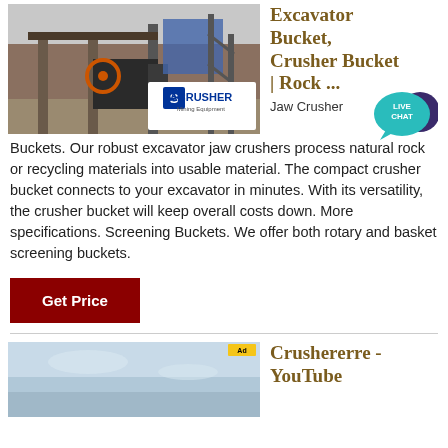[Figure (photo): Mining equipment / jaw crusher machine at a construction or quarry site, with ACRUSHER Mining Equipment logo overlay]
Excavator Bucket, Crusher Bucket | Rock ...
[Figure (illustration): Live Chat speech bubble icon in teal/dark blue]
Jaw Crusher Buckets. Our robust excavator jaw crushers process natural rock or recycling materials into usable material. The compact crusher bucket connects to your excavator in minutes. With its versatility, the crusher bucket will keep overall costs down. More specifications. Screening Buckets. We offer both rotary and basket screening buckets.
Get Price
Crushererre - YouTube
[Figure (screenshot): YouTube video thumbnail showing a sky background]